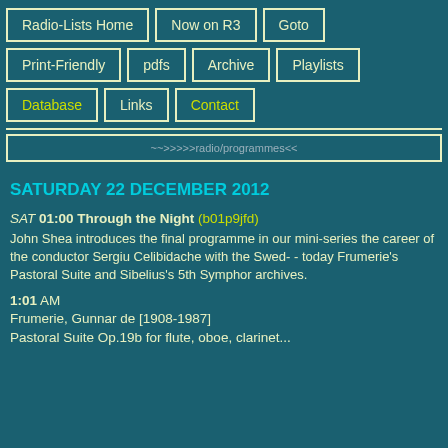Radio-Lists Home
Now on R3
Goto
Print-Friendly
pdfs
Archive
Playlists
Database
Links
Contact
~~>>>>>radio/programmes<<
SATURDAY 22 DECEMBER 2012
SAT 01:00 Through the Night (b01p9jfd)
John Shea introduces the final programme in our mini-series the career of the conductor Sergiu Celibidache with the Swed- - today Frumerie's Pastoral Suite and Sibelius's 5th Symphor archives.
1:01 AM
Frumerie, Gunnar de [1908-1987]
Pastoral Suite Op.19b for flute, oboe, clarinet...